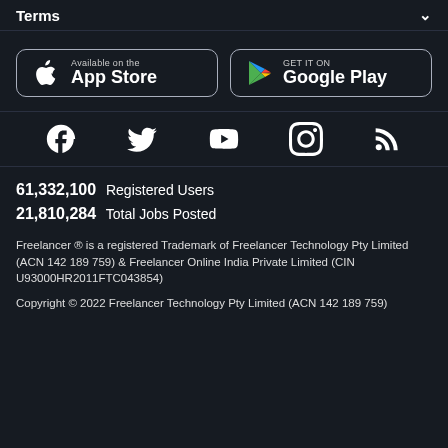Terms
[Figure (screenshot): App Store and Google Play download buttons]
[Figure (screenshot): Social media icons: Facebook, Twitter, YouTube, Instagram, RSS]
61,332,100  Registered Users
21,810,284  Total Jobs Posted
Freelancer ® is a registered Trademark of Freelancer Technology Pty Limited (ACN 142 189 759) & Freelancer Online India Private Limited (CIN U93000HR2011FTC043854)
Copyright © 2022 Freelancer Technology Pty Limited (ACN 142 189 759)